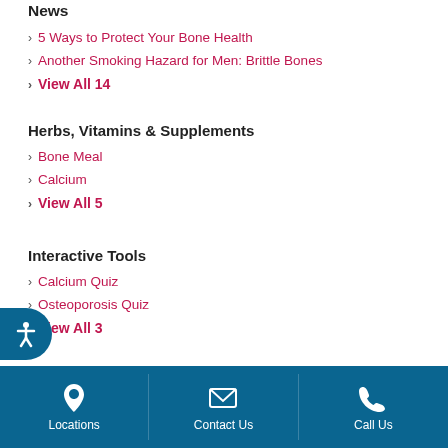News
5 Ways to Protect Your Bone Health
Another Smoking Hazard for Men: Brittle Bones
View All 14
Herbs, Vitamins & Supplements
Bone Meal
Calcium
View All 5
Interactive Tools
Calcium Quiz
Osteoporosis Quiz
View All 3
Videos
Locations | Contact Us | Call Us